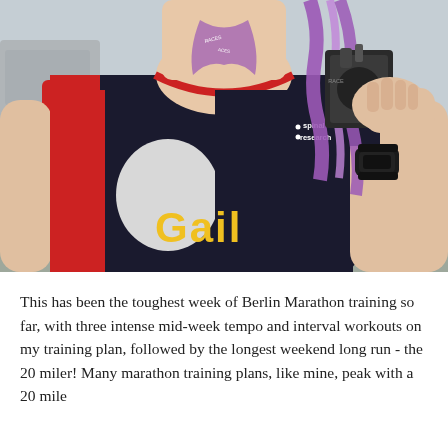[Figure (photo): A woman wearing a dark blue, red and white sleeveless running vest with 'spinal research' logo and the name 'Gail' in large yellow letters on the front. She is holding up a race medal on a purple ribbon. The medal is dark-coloured. She is wearing a black sports watch on her right wrist. The background shows an outdoor setting with parked cars and greenery.]
This has been the toughest week of Berlin Marathon training so far, with three intense mid-week tempo and interval workouts on my training plan, followed by the longest weekend long run - the 20 miler! Many marathon training plans, like mine, peak with a 20 mile